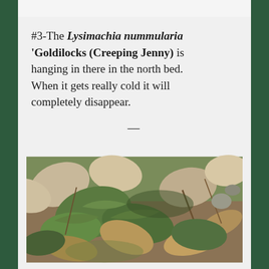#3-The Lysimachia nummularia 'Goldilocks (Creeping Jenny) is hanging in there in the north bed. When it gets really cold it will completely disappear.
[Figure (photo): Close-up photo of garden plants with fern-like green foliage and fallen autumn leaves in browns, tans, and muted greens.]